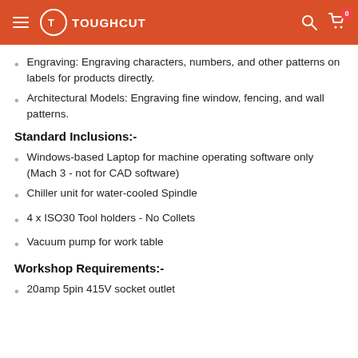TOUGHCUT
Engraving: Engraving characters, numbers, and other patterns on labels for products directly.
Architectural Models: Engraving fine window, fencing, and wall patterns.
Standard Inclusions:-
Windows-based Laptop for machine operating software only (Mach 3 - not for CAD software)
Chiller unit for water-cooled Spindle
4 x ISO30 Tool holders - No Collets
Vacuum pump for work table
Workshop Requirements:-
20amp 5pin 415V socket outlet